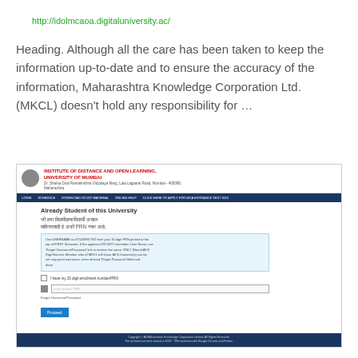http://idolmcaoa.digitaluniversity.ac/
Heading. Although all the care has been taken to keep the information up-to-date and to ensure the accuracy of the information, Maharashtra Knowledge Corporation Ltd. (MKCL) doesn't hold any responsibility for …
[Figure (screenshot): Screenshot of the Institute of Distance and Open Learning, University of Mumbai website login page showing a login form for existing students with PRN number input field and a Proceed button.]